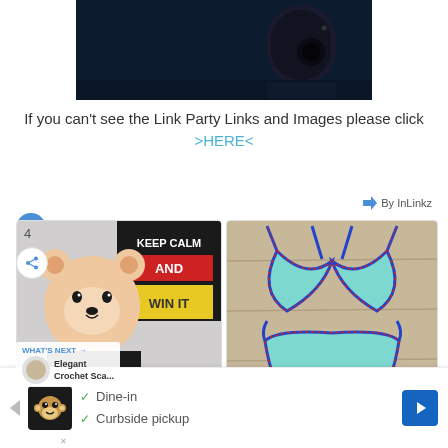[Figure (photo): Partial view of a dark blue background with a black smart home camera device on the right side]
If you can't see the Link Party Links and Images please click >HERE<
[Figure (infographic): By InLinkz badge with arrow logo]
[Figure (photo): Left card showing a crocheted bear toy with 'KEEP CALM AND WIN IT' poster in background, number 4 and share button overlay]
[Figure (photo): Right card showing a crocheted turquoise bikini set with blue, red and yellow trim on a wooden surface]
[Figure (infographic): What's Next overlay showing 'Elegant Crochet Sca...' with thumbnail]
[Figure (infographic): Advertisement bar with logo, Dine-in and Curbside pickup checkmarks, and navigation arrow]